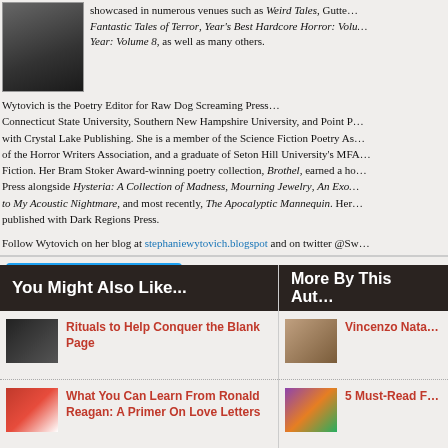[Figure (photo): Author photo showing a person with dark hair wearing a black turtleneck]
showcased in numerous venues such as Weird Tales, Gutter... Fantastic Tales of Terror, Year's Best Hardcore Horror: Volu... Year: Volume 8, as well as many others.
Wytovich is the Poetry Editor for Raw Dog Screaming Press, Connecticut State University, Southern New Hampshire University, and Point P... with Crystal Lake Publishing. She is a member of the Science Fiction Poetry As... of the Horror Writers Association, and a graduate of Seton Hill University's MFA... Fiction. Her Bram Stoker Award-winning poetry collection, Brothel, earned a ho... Press alongside Hysteria: A Collection of Madness, Mourning Jewelry, An Exo... to My Acoustic Nightmare, and most recently, The Apocalyptic Mannequin. Her... published with Dark Regions Press.
Follow Wytovich on her blog at stephaniewytovich.blogspot and on twitter @Sw...
Follow @Swytovich
You Might Also Like...
More By This Aut...
Rituals to Help Conquer the Blank Page
Vincenzo Nata...
What You Can Learn From Ronald Reagan: A Primer On Love Letters
5 Must-Read F...
Art and the Aphorism
A Nonfiction Re...